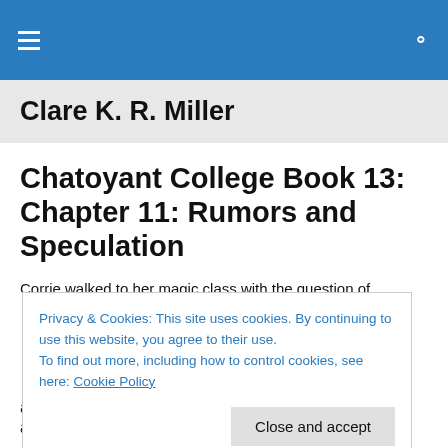Clare K. R. Miller — site header with menu and search icons
Clare K. R. Miller
Chatoyant College Book 13: Chapter 11: Rumors and Speculation
Corrie walked to her magic class with the question of
Privacy & Cookies: This site uses cookies. By continuing to use this website, you agree to their use. To find out more, including how to control cookies, see here: Cookie Policy
after he died no matter what, that didn't tell them anything.